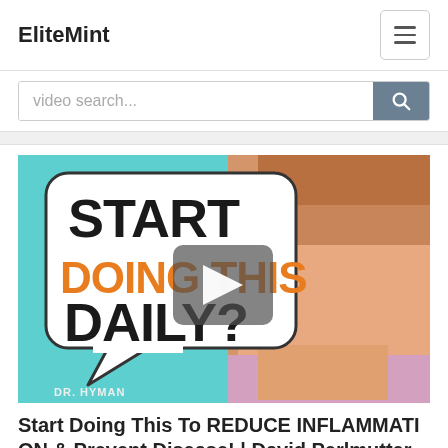EliteMint
video search...
[Figure (screenshot): Video thumbnail showing a man's face on the right side against a teal background. On the left is a speech bubble with text: START (black) DOING THIS (orange) DAILY? (black). A play button is centered over the image. Bottom-left text: DR. HYMAN]
Start Doing This To REDUCE INFLAMMATION & Prevent Disease! | David Perlmutter